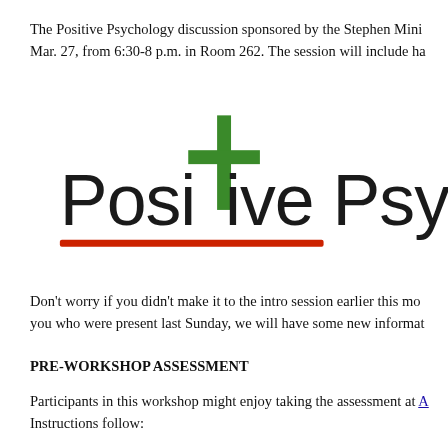The Positive Psychology discussion sponsored by the Stephen Mini Mar. 27, from 6:30-8 p.m. in Room 262. The session will include ha
[Figure (logo): Positive Psychology logo with a green plus sign replacing the letter 't' in 'Positive', followed by 'Psy', with a red horizontal underline beneath 'Positive']
Don't worry if you didn't make it to the intro session earlier this mo you who were present last Sunday, we will have some new informat
PRE-WORKSHOP ASSESSMENT
Participants in this workshop might enjoy taking the assessment at A Instructions follow: